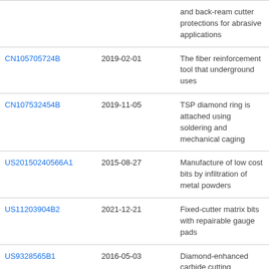| Patent Number | Date | Description |
| --- | --- | --- |
|  |  | and back-ream cutter protections for abrasive applications |
| CN105705724B | 2019-02-01 | The fiber reinforcement tool that underground uses |
| CN107532454B | 2019-11-05 | TSP diamond ring is attached using soldering and mechanical caging |
| US20150240566A1 | 2015-08-27 | Manufacture of low cost bits by infiltration of metal powders |
| US11203904B2 | 2021-12-21 | Fixed-cutter matrix bits with repairable gauge pads |
| US9328565B1 | 2016-05-03 | Diamond-enhanced carbide cutting elements, drill bits using the same, and methods of manufacturing the same |